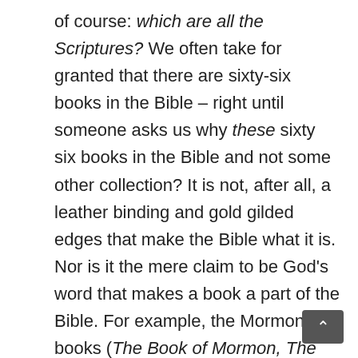of course: which are all the Scriptures? We often take for granted that there are sixty-six books in the Bible – right until someone asks us why these sixty six books in the Bible and not some other collection? It is not, after all, a leather binding and gold gilded edges that make the Bible what it is. Nor is it the mere claim to be God's word that makes a book a part of the Bible. For example, the Mormon books (The Book of Mormon, The Pearl of Great Price, and Doctrine and Covenants) claim to be God's Word and come in a very nice leather binding, with choice of leather color, and gold gild and indexed pages, but all Christians, and learned non-Christians for that matter, reject them as p...